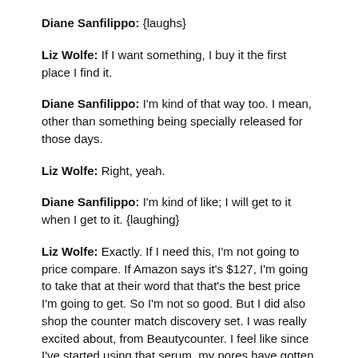Diane Sanfilippo: {laughs}
Liz Wolfe: If I want something, I buy it the first place I find it.
Diane Sanfilippo: I'm kind of that way too. I mean, other than something being specially released for those days.
Liz Wolfe: Right, yeah.
Diane Sanfilippo: I'm kind of like; I will get to it when I get to it. {laughing}
Liz Wolfe: Exactly. If I need this, I'm not going to price compare. If Amazon says it's $127, I'm going to take that at their word that that's the best price I'm going to get. So I'm not so good. But I did also shop the counter match discovery set. I was really excited about, from Beautycounter. I feel like since I've started using that serum, my pores have gotten